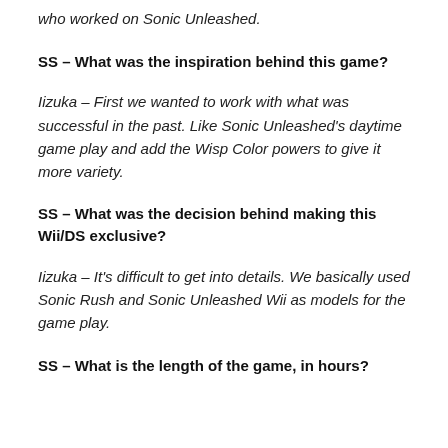who worked on Sonic Unleashed.
SS – What was the inspiration behind this game?
Iizuka – First we wanted to work with what was successful in the past. Like Sonic Unleashed's daytime game play and add the Wisp Color powers to give it more variety.
SS – What was the decision behind making this Wii/DS exclusive?
Iizuka – It's difficult to get into details. We basically used Sonic Rush and Sonic Unleashed Wii as models for the game play.
SS – What is the length of the game, in hours?